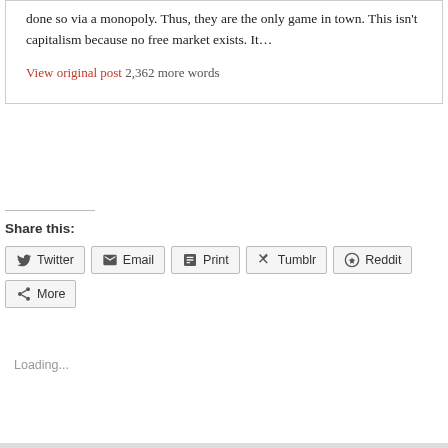done so via a monopoly. Thus, they are the only game in town. This isn't capitalism because no free market exists. It…
View original post 2,362 more words
Share this:
Twitter Email Print Tumblr Reddit More
Loading...